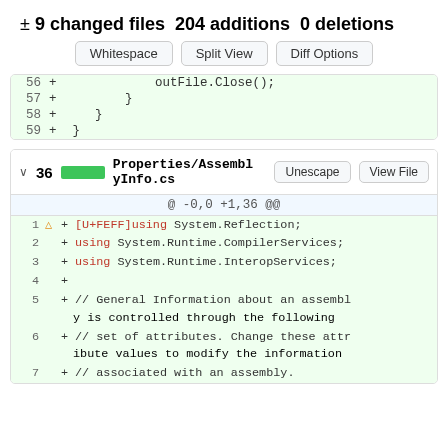± 9 changed files 204 additions 0 deletions
Whitespace | Split View | Diff Options
56 + outFile.Close();
57 + }
58 + }
59 + }
v 36 [green] Properties/AssemblyInfo.cs   Unescape  View File
@ -0,0 +1,36 @@
1 △ + [U+FEFF]using System.Reflection;
2   + using System.Runtime.CompilerServices;
3   + using System.Runtime.InteropServices;
4   +
5   + // General Information about an assembly is controlled through the following
6   + // set of attributes. Change these attribute values to modify the information
7   + // associated with an assembly.